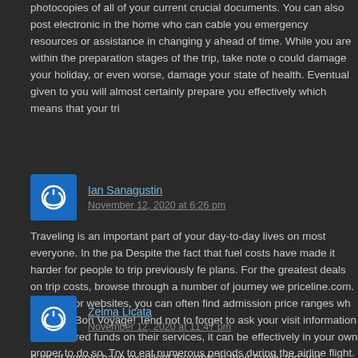photocopies of all of your current crucial documents. You can also post electronic in the home who can cable you emergency resources or assistance in changing y ahead of time. While you are within the preparation stages of the trip, take note o could damage your holiday, or even worse, damage your state of health. Eventual given to you will almost certainly prepare you effectively which means that your tri
[Figure (illustration): Blue square avatar icon with white power/user symbol]
Ian Sanagustin
November 12, 2020 at 6:26 pm
Traveling is an important part of your day-to-day lives on most everyone. In the pa Despite the fact that fuel costs have made it harder for people to trip previously fe plans. For the greatest deals on trip costs, browse through a number of journey we priceline.com. On exterior websites, you can often find admission price ranges wh charges. Bon Voyage! Tend not to forget to ask your visit information for their cred funds on their services, it can be effectively in your own proper to do so. Try to eat numerous periods during the airline flight. Some toast in the morning or a cup of s neighborhood provides you with “bad vibes”, just leave. Your intuition could be info security. Since you’re wiser concerning the methods of the world, you may load up an available reserve and it’s time for you to add a couple of web pages of your ver
[Figure (illustration): Blue square avatar icon with white power/user symbol]
Zelma Licata
November 12, 2020 at 11:47 pm
A lot of people have excellent thoughts in their family trip and journeys they had ta